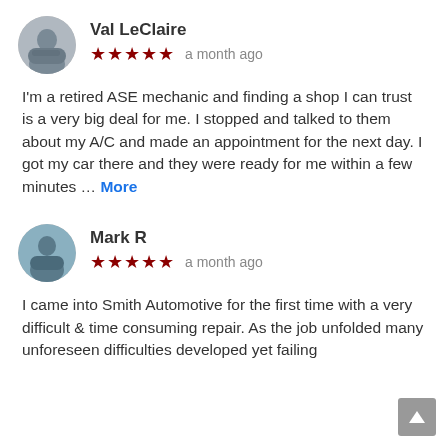[Figure (photo): Circular avatar photo of Val LeClaire showing a motorcycle outdoors]
Val LeClaire
★★★★★ a month ago
I'm a retired ASE mechanic and finding a shop I can trust is a very big deal for me. I stopped and talked to them about my A/C and made an appointment for the next day. I got my car there and they were ready for me within a few minutes … More
[Figure (photo): Circular avatar photo of Mark R showing a person outdoors]
Mark R
★★★★★ a month ago
I came into Smith Automotive for the first time with a very difficult & time consuming repair. As the job unfolded many unforeseen difficulties developed yet failing